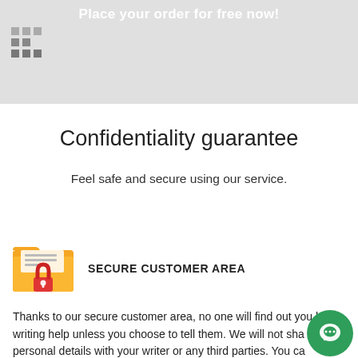Place your order for free now!
Confidentiality guarantee
Feel safe and secure using our service.
SECURE CUSTOMER AREA
Thanks to our secure customer area, no one will find out you had writing help unless you choose to tell them. We will not share personal details with your writer or any third parties. You can communicate with the writer on a no-name basis.